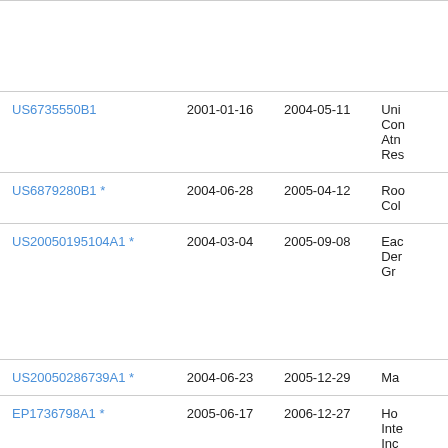| Patent Number | Filed | Published | Assignee |
| --- | --- | --- | --- |
| US6735550B1 | 2001-01-16 | 2004-05-11 | Uni Con Atn Res |
| US6879280B1 * | 2004-06-28 | 2005-04-12 | Roo Col |
| US20050195104A1 * | 2004-03-04 | 2005-09-08 | Eac Der Gr |
| US20050286739A1 * | 2004-06-23 | 2005-12-29 | Ma |
| EP1736798A1 * | 2005-06-17 | 2006-12-27 | Ho Inte Inc |